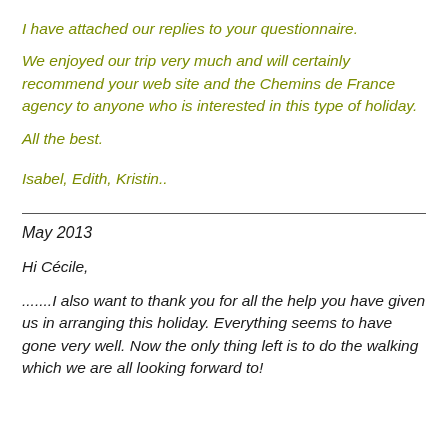I have attached our replies to your questionnaire.
We enjoyed our trip very much and will certainly recommend your web site and the Chemins de France agency to anyone who is interested in this type of holiday.
All the best.
Isabel, Edith, Kristin..
May 2013
Hi Cécile,
.......I also want to thank you for all the help you have given us in arranging this holiday. Everything seems to have gone very well. Now the only thing left is to do the walking which we are all looking forward to!